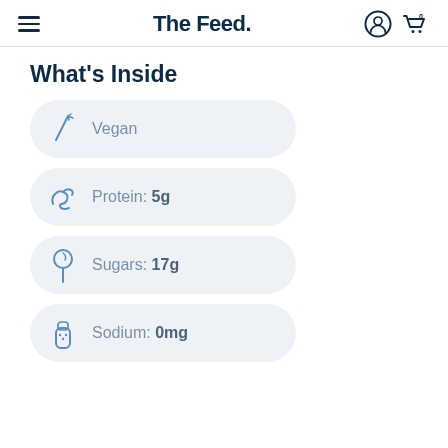The Feed.
What's Inside
Vegan
Protein: 5g
Sugars: 17g
Sodium: 0mg